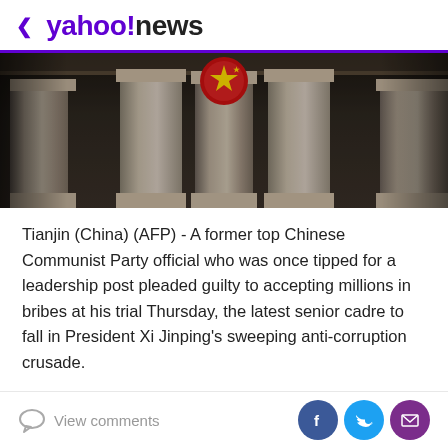< yahoo!news
[Figure (photo): Photograph of a Chinese government building facade with large stone columns and a red national emblem/seal mounted above the entrance, viewed from below at a slight angle.]
Tianjin (China) (AFP) - A former top Chinese Communist Party official who was once tipped for a leadership post pleaded guilty to accepting millions in bribes at his trial Thursday, the latest senior cadre to fall in President Xi Jinping's sweeping anti-corruption crusade.
Sun Zhengcai, a former Politburo member and party chief of the southwestern mega-city of Chongqing, was accused of taking advantage of his position to seek
View comments